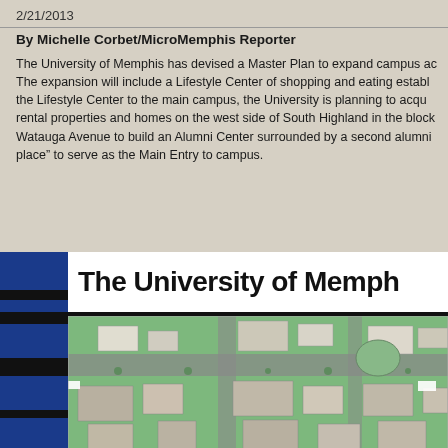2/21/2013
By Michelle Corbet/MicroMemphis Reporter
The University of Memphis has devised a Master Plan to expand campus ac... The expansion will include a Lifestyle Center of shopping and eating establ... the Lifestyle Center to the main campus, the University is planning to acqu... rental properties and homes on the west side of South Highland in the block... Watauga Avenue to build an Alumni Center surrounded by a second alumni... place" to serve as the Main Entry to campus.
[Figure (illustration): University of Memphis master plan aerial rendering showing campus buildings, green spaces, and surrounding streets with blue and black vertical bar logo element on left side]